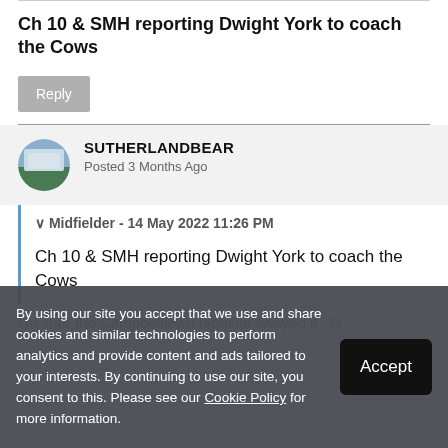Ch 10 & SMH reporting Dwight York to coach the Cows
Reply
SUTHERLANDBEAR
Posted 3 Months Ago
Midfielder - 14 May 2022 11:26 PM
Ch 10 & SMH reporting Dwight York to coach the Cows
I'm sure the Campbelltown nightlife swayed it. :D
By using our site you accept that we use and share cookies and similar technologies to perform analytics and provide content and ads tailored to your interests. By continuing to use our site, you consent to this. Please see our Cookie Policy for more information.